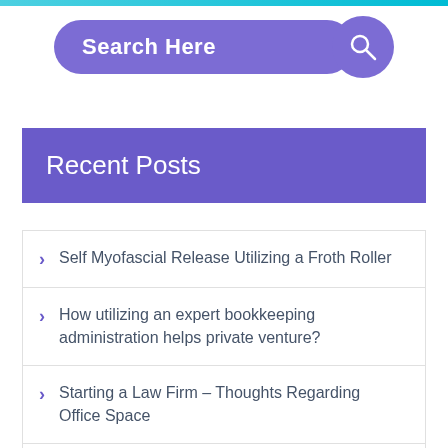[Figure (screenshot): Search bar UI element with purple rounded rectangle and search icon circle on right]
Recent Posts
Self Myofascial Release Utilizing a Froth Roller
How utilizing an expert bookkeeping administration helps private venture?
Starting a Law Firm – Thoughts Regarding Office Space
Chinese Medicine for Loss of Weight
Get A Marriage Counseling Before It Is Too Late To Save